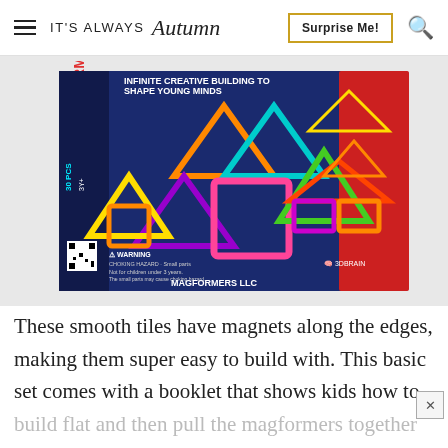IT'S ALWAYS Autumn | Surprise Me! | Search
[Figure (photo): Magformers magnetic building tiles set box showing colorful geometric shapes — triangles, squares — in a product box with navy blue background. Text on box reads: INFINITE CREATIVE BUILDING TO SHAPE YOUNG MINDS, WARNING CHOKING HAZARD Small parts Not for children under 3 years, MAGFORMERS LLC, 30 PCS, 3Y+]
These smooth tiles have magnets along the edges, making them super easy to build with. This basic set comes with a booklet that shows kids how to build flat and then pull the magformers together to create a 3D design. As with most building sets t